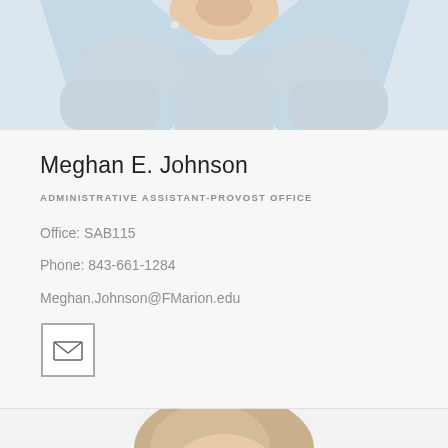[Figure (photo): Top portion of a woman wearing a light blue sleeveless top, partially cropped showing torso and neck area]
Meghan E. Johnson
ADMINISTRATIVE ASSISTANT-PROVOST OFFICE
Office: SAB115
Phone: 843-661-1284
Meghan.Johnson@FMarion.edu
[Figure (illustration): Email icon button — square border containing an envelope icon]
[Figure (photo): Bottom portion of a second person — a woman with blonde hair, partially cropped, showing top of head]